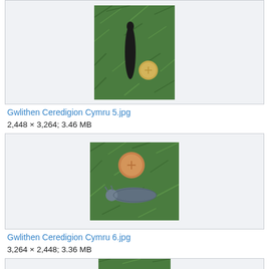[Figure (photo): Photo of a black slug on green grass next to a coin, portrait orientation]
Gwlithen Ceredigion Cymru 5.jpg
2,448 × 3,264; 3.46 MB
[Figure (photo): Photo of a grey-blue slug on green grass next to a copper coin, landscape orientation]
Gwlithen Ceredigion Cymru 6.jpg
3,264 × 2,448; 3.36 MB
[Figure (photo): Partial photo of slugs, partially cropped at bottom of page]